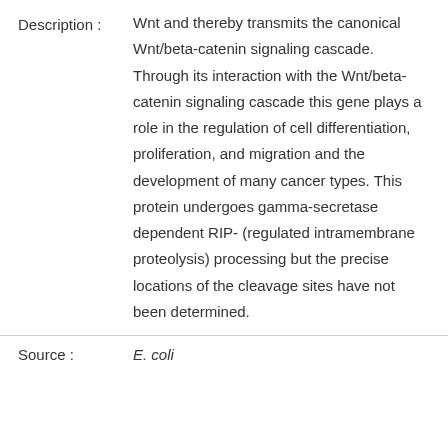Description : Wnt and thereby transmits the canonical Wnt/beta-catenin signaling cascade. Through its interaction with the Wnt/beta-catenin signaling cascade this gene plays a role in the regulation of cell differentiation, proliferation, and migration and the development of many cancer types. This protein undergoes gamma-secretase dependent RIP- (regulated intramembrane proteolysis) processing but the precise locations of the cleavage sites have not been determined.
Source : E. coli